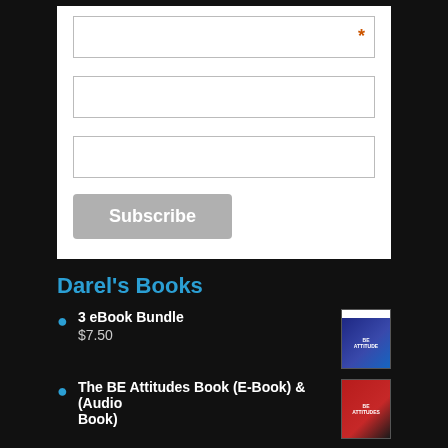[Figure (screenshot): White form box with three input fields and a Subscribe button. First field has an orange asterisk.]
Darel's Books
3 eBook Bundle
$7.50
The BE Attitudes Book (E-Book) & (Audio Book)